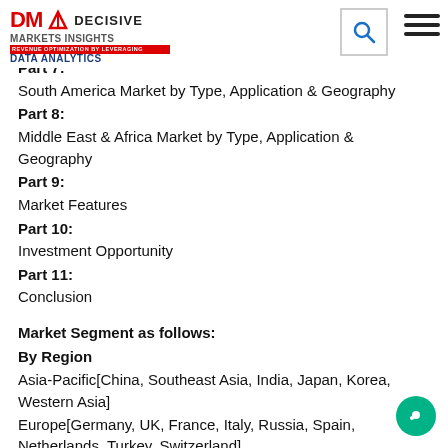DM DECISIVE MARKETS INSIGHTS - REVENUE OPTIMIZATION BY LEVERAGING DATA ANALYTICS
Part 7:
South America Market by Type, Application & Geography
Part 8:
Middle East & Africa Market by Type, Application & Geography
Part 9:
Market Features
Part 10:
Investment Opportunity
Part 11:
Conclusion
Market Segment as follows:
By Region
Asia-Pacific[China, Southeast Asia, India, Japan, Korea, Western Asia]
Europe[Germany, UK, France, Italy, Russia, Spain, Netherlands, Turkey, Switzerland]
North America[United States, Canada, Mexico]
Middle East & Africa[GCC, North Africa, South Africa]